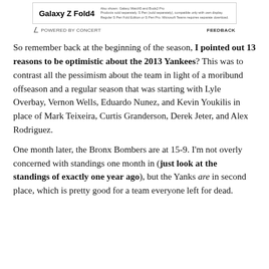[Figure (other): Samsung Galaxy Z Fold4 advertisement banner]
POWERED BY CONCERT   FEEDBACK
So remember back at the beginning of the season, I pointed out 13 reasons to be optimistic about the 2013 Yankees? This was to contrast all the pessimism about the team in light of a moribund offseason and a regular season that was starting with Lyle Overbay, Vernon Wells, Eduardo Nunez, and Kevin Youkilis in place of Mark Teixeira, Curtis Granderson, Derek Jeter, and Alex Rodriguez.
One month later, the Bronx Bombers are at 15-9. I'm not overly concerned with standings one month in (just look at the standings of exactly one year ago), but the Yanks are in second place, which is pretty good for a team everyone left for dead.